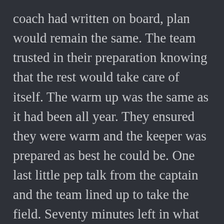coach had written on board, plan would remain the same. The team trusted in their preparation knowing that the rest would take care of itself. The warm up was the same as it had been all year. They ensured they were warm and the keeper was prepared as best he could be. One last little pep talk from the captain and the team lined up to take the field. Seventy minutes left in what had already been a season to be proud of. Seventy minutes standing between them and the outcome they had chased all season.
The whistle sounded in what would be a fierce and fast first half of hockey. The majority of play was in Kingscliff's attacking half, as they